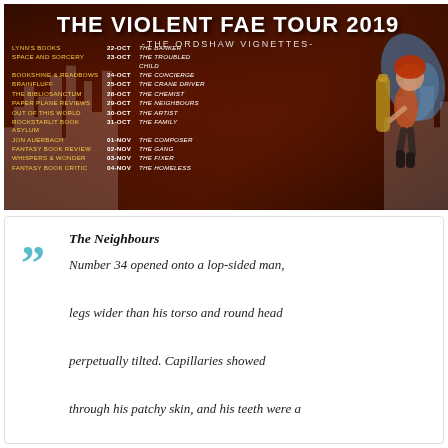[Figure (infographic): Tour banner for 'The Violent Fae Tour 2019 - The Ordshaw Vignettes' with a dark red/orange cityscape background and a fairy character illustration. Lists blog stops with dates and story titles from 22-Oct to 04-Nov.]
The Neighbours
Number 34 opened onto a lop-sided man, legs wider than his torso and round head perpetually tilted. Capillaries showed through his patchy skin, and his teeth were a bit too big for his lips to conceal. He wore stained sweatpants and a t-shirt too small for